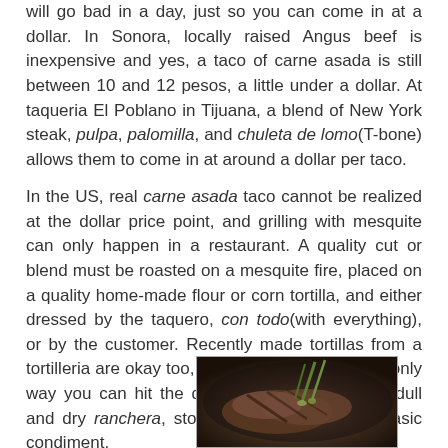will go bad in a day, just so you can come in at a dollar. In Sonora, locally raised Angus beef is inexpensive and yes, a taco of carne asada is still between 10 and 12 pesos, a little under a dollar. At taqueria El Poblano in Tijuana, a blend of New York steak, pulpa, palomilla, and chuleta de lomo(T-bone) allows them to come in at around a dollar per taco.
In the US, real carne asada taco cannot be realized at the dollar price point, and grilling with mesquite can only happen in a restaurant. A quality cut or blend must be roasted on a mesquite fire, placed on a quality home-made flour or corn tortilla, and either dressed by the taquero, con todo(with everything), or by the customer. Recently made tortillas from a tortilleria are okay too, called recien hecha. The only way you can hit the dollar mark is with cheap,dull and dry ranchera, store bought tortillas, and basic condiment.
[Figure (photo): A photo of grilled carne asada meat in a dark pan with what appears to be green onions/scallions on top]